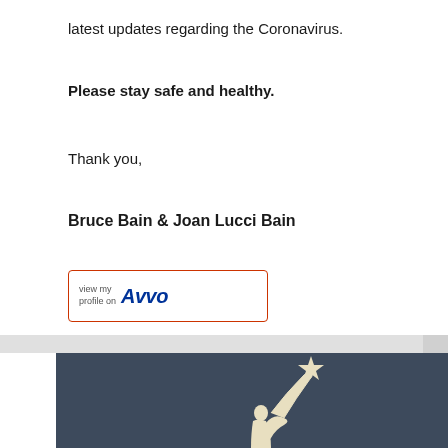latest updates regarding the Coronavirus.
Please stay safe and healthy.
Thank you,
Bruce Bain & Joan Lucci Bain
[Figure (logo): Avvo 'view my profile on Avvo' badge with red border]
[Figure (photo): Dark blue-gray background with a cream/beige silhouette of a person reaching up to touch a star]